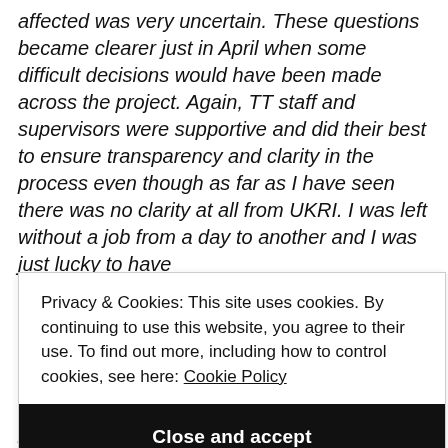affected was very uncertain. These questions became clearer just in April when some difficult decisions would have been made across the project. Again, TT staff and supervisors were supportive and did their best to ensure transparency and clarity in the process even though as far as I have seen there was no clarity at all from UKRI. I was left without a job from a day to another and I was just lucky to have
Privacy & Cookies: This site uses cookies. By continuing to use this website, you agree to their use. To find out more, including how to control cookies, see here: Cookie Policy
Close and accept
pandemic, the fact that due to pandemic all